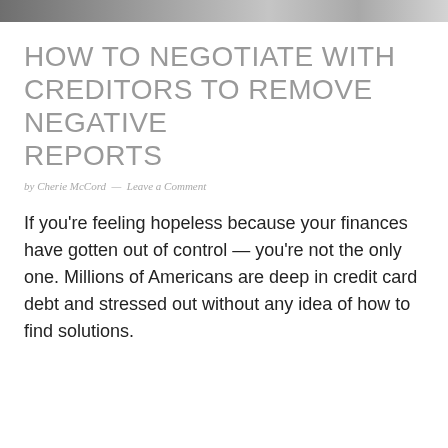[Figure (photo): Cropped photo banner at the top of the page, showing people or a scene related to finance/credit, partially visible]
HOW TO NEGOTIATE WITH CREDITORS TO REMOVE NEGATIVE REPORTS
by Cherie McCord — Leave a Comment
If you're feeling hopeless because your finances have gotten out of control — you're not the only one. Millions of Americans are deep in credit card debt and stressed out without any idea of how to find solutions.